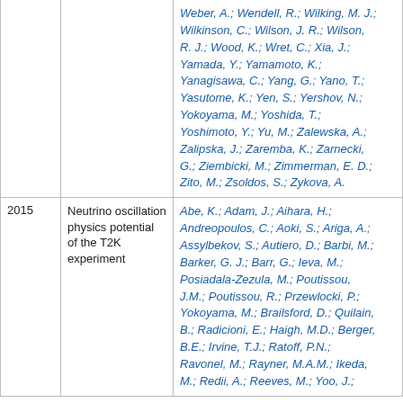| Year | Title | Authors |
| --- | --- | --- |
|  |  | Weber, A.; Wendell, R.; Wilking, M. J.; Wilkinson, C.; Wilson, J. R.; Wilson, R. J.; Wood, K.; Wret, C.; Xia, J.; Yamada, Y.; Yamamoto, K.; Yanagisawa, C.; Yang, G.; Yano, T.; Yasutome, K.; Yen, S.; Yershov, N.; Yokoyama, M.; Yoshida, T.; Yoshimoto, Y.; Yu, M.; Zalewska, A.; Zalipska, J.; Zaremba, K.; Zarnecki, G.; Ziembicki, M.; Zimmerman, E. D.; Zito, M.; Zsoldos, S.; Zykova, A. |
| 2015 | Neutrino oscillation physics potential of the T2K experiment | Abe, K.; Adam, J.; Aihara, H.; Andreopoulos, C.; Aoki, S.; Ariga, A.; Assylbekov, S.; Autiero, D.; Barbi, M.; Barker, G. J.; Barr, G.; Ieva, M.; Posiadala-Zezula, M.; Poutissou, J.M.; Poutissou, R.; Przewlocki, P.; Yokoyama, M.; Brailsford, D.; Quilain, B.; Radicioni, E.; Haigh, M.D.; Berger, B.E.; Irvine, T.J.; Ratoff, P.N.; Ravonel, M.; Rayner, M.A.M.; Ikeda, M.; Redii, A.; Reeves, M.; Yoo, J.; |